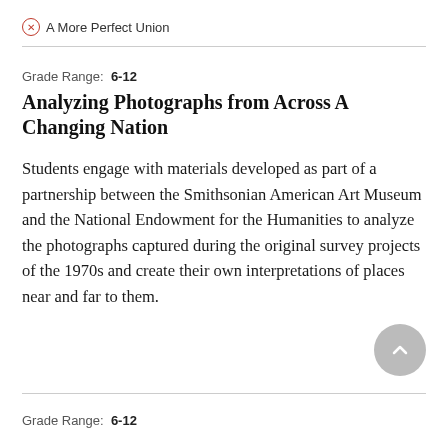A More Perfect Union
Grade Range:  6-12
Analyzing Photographs from Across A Changing Nation
Students engage with materials developed as part of a partnership between the Smithsonian American Art Museum and the National Endowment for the Humanities to analyze the photographs captured during the original survey projects of the 1970s and create their own interpretations of places near and far to them.
Grade Range:  6-12